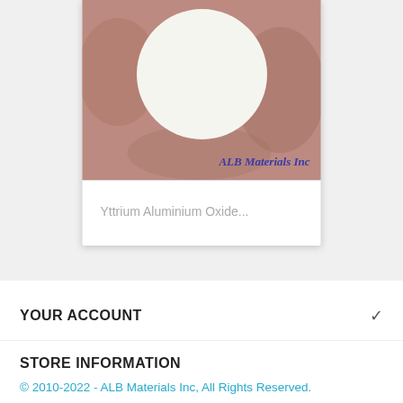[Figure (photo): Product photo of a white disc (Yttrium Aluminium Oxide) on a metallic background with ALB Materials Inc watermark text in blue italic]
Yttrium Aluminium Oxide...
YOUR ACCOUNT
STORE INFORMATION
© 2010-2022 - ALB Materials Inc, All Rights Reserved.